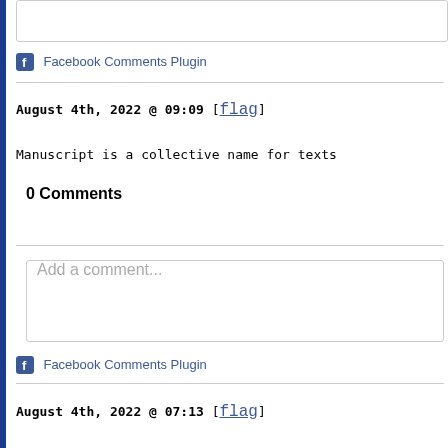Facebook Comments Plugin
August 4th, 2022 @ 09:09 [flag]
Manuscript is a collective name for texts
0 Comments
Add a comment...
Facebook Comments Plugin
August 4th, 2022 @ 07:13 [flag]